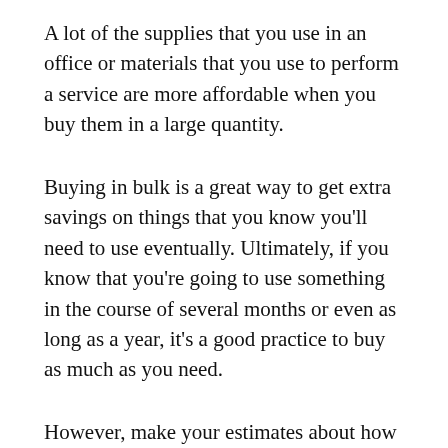A lot of the supplies that you use in an office or materials that you use to perform a service are more affordable when you buy them in a large quantity.
Buying in bulk is a great way to get extra savings on things that you know you'll need to use eventually. Ultimately, if you know that you're going to use something in the course of several months or even as long as a year, it's a good practice to buy as much as you need.
However, make your estimates about how much of something you'll need somewhat conservative, and base them on your previous use. Lean towards underestimating your needs rather than